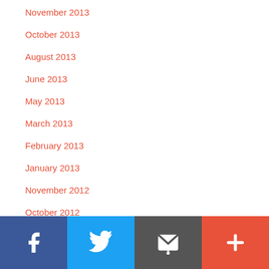November 2013
October 2013
August 2013
June 2013
May 2013
March 2013
February 2013
January 2013
November 2012
October 2012
September 2012
Facebook | Twitter | Email | Plus